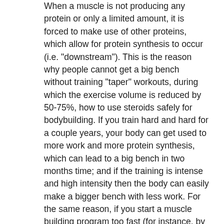When a muscle is not producing any protein or only a limited amount, it is forced to make use of other proteins, which allow for protein synthesis to occur (i.e. "downstream"). This is the reason why people cannot get a big bench without training "taper" workouts, during which the exercise volume is reduced by 50-75%, how to use steroids safely for bodybuilding. If you train hard and hard for a couple years, your body can get used to more work and more protein synthesis, which can lead to a big bench in two months time; and if the training is intense and high intensity then the body can easily make a bigger bench with less work. For the same reason, if you start a muscle building program too fast (for instance, by doing a beginner's program and not progressing much) then muscle mass is more likely to be lost sooner, than if your training is slower and more sensible.